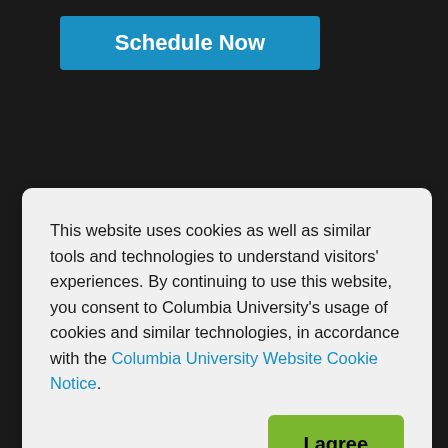[Figure (screenshot): Blue 'Schedule Now' button at top of page]
This website uses cookies as well as similar tools and technologies to understand visitors' experiences. By continuing to use this website, you consent to Columbia University's usage of cookies and similar technologies, in accordance with the Columbia University Website Cookie Notice.
[Figure (screenshot): Green 'I agree' button inside cookie consent dialog]